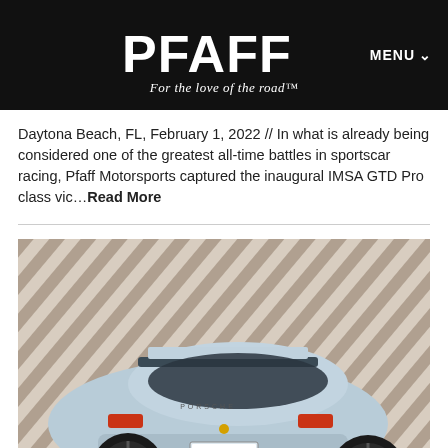PFAFF — For the love of the road™ | MENU
Daytona Beach, FL, February 1, 2022 // In what is already being considered one of the greatest all-time battles in sportscar racing, Pfaff Motorsports captured the inaugural IMSA GTD Pro class vic…Read More
[Figure (photo): Rear three-quarter view of a light blue Porsche 911 Turbo parked in front of a diagonal striped architectural background]